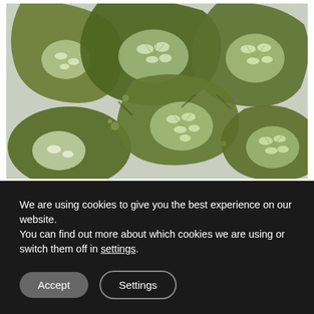[Figure (photo): Close-up macro photograph of green plant cells or algae, showing rounded dark green lobed shapes with white interior seed/cell structures, overlapping like lily pads viewed under microscope or strong light]
We are using cookies to give you the best experience on our website.
You can find out more about which cookies we are using or switch them off in settings.
Accept
Settings